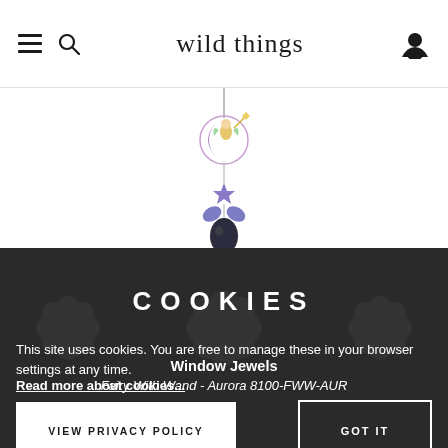wild things
[Figure (photo): A colorful fairy with wand window jewel/sun catcher ornament hanging, showing a fairy on a moon with crystal decorations]
COOKIES
This site uses cookies. You are free to manage these in your browser settings at any time.
Read more about cookies...
Window Jewels
Fairy With Wand - Aurora 8100-FWW-AUR
VIEW PRIVACY POLICY
GOT IT